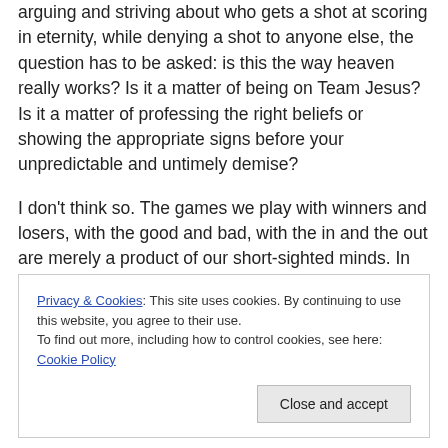arguing and striving about who gets a shot at scoring in eternity, while denying a shot to anyone else, the question has to be asked: is this the way heaven really works? Is it a matter of being on Team Jesus? Is it a matter of professing the right beliefs or showing the appropriate signs before your unpredictable and untimely demise?
I don't think so. The games we play with winners and losers, with the good and bad, with the in and the out are merely a product of our short-sighted minds. In eternity, to which heaven belongs, there are no such things. Eternity is the great leveler. It is the place in which all that is
Privacy & Cookies: This site uses cookies. By continuing to use this website, you agree to their use. To find out more, including how to control cookies, see here: Cookie Policy